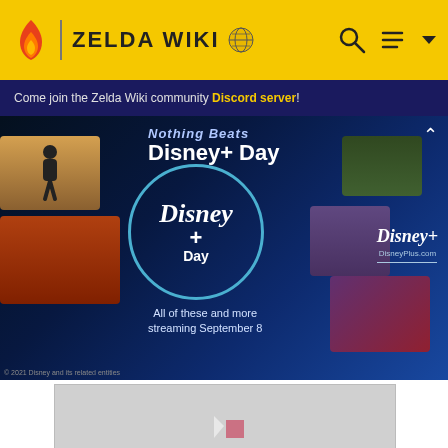ZELDA WIKI
Come join the Zelda Wiki community Discord server!
[Figure (screenshot): Disney+ Day advertisement banner showing Disney+Day branding, streaming content thumbnails (animated characters, Cars movie characters, Marvel Thor), Disney+ logo and text 'All of these and more streaming September 8']
[Figure (screenshot): Gray advertisement placeholder rectangle]
ADVERTISEMENT